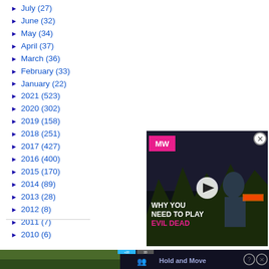► July (27)
► June (32)
► May (34)
► April (37)
► March (36)
► February (33)
► January (22)
► 2021 (523)
► 2020 (302)
► 2019 (158)
► 2018 (251)
► 2017 (427)
► 2016 (400)
► 2015 (170)
► 2014 (89)
► 2013 (28)
► 2012 (8)
► 2011 (7)
► 2010 (6)
[Figure (screenshot): Video advertisement overlay for 'Why You Need to Play Evil Dead' from MW (Men With Ego) channel, showing a person holding a chainsaw in a dark forest. Includes pink MW logo, play button, and text 'WHY YOU NEED TO PLAY EVIL DEAD' with close button.]
[Figure (screenshot): Bottom advertisement banner showing 'Hold and Move' game with forest background and dark overlay with blue/purple icons.]